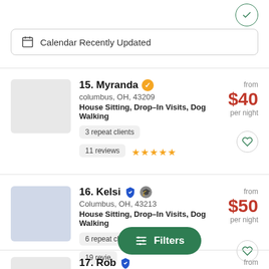Calendar Recently Updated
15. Myranda · columbus, OH, 43209 · House Sitting, Drop-In Visits, Dog Walking · 3 repeat clients · 11 reviews · from $40 per night
16. Kelsi · Columbus, OH, 43213 · House Sitting, Drop-In Visits, Dog Walking · 6 repeat clients · 19 reviews · from $50 per night
17. Rob · from